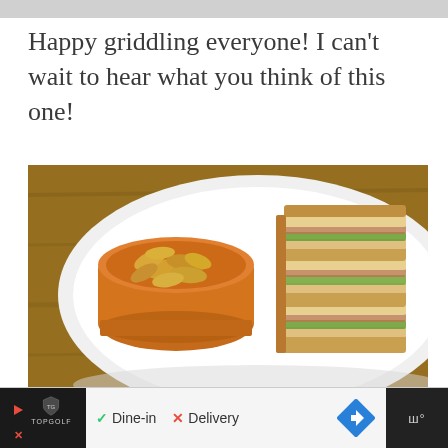Happy griddling everyone! I can't wait to hear what you think of this one!
[Figure (photo): A white plate with a club sandwich cut into triangular sections showing layered bread, avocado, bacon and other fillings, alongside an orange ceramic ramekin filled with potato chips, placed on a wooden table surface.]
Dine-in   Delivery